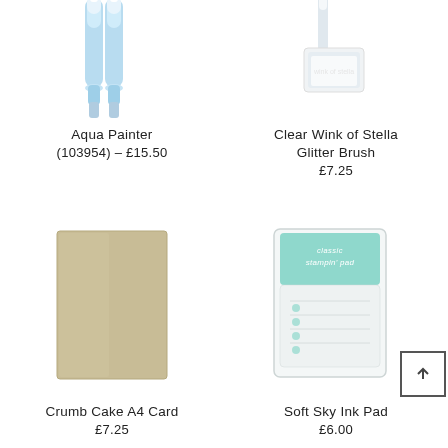[Figure (photo): Two aqua painter brush pens with light blue handles shown from above, partially cropped at top]
Aqua Painter
(103954) – £15.50
[Figure (photo): Clear Wink of Stella glitter brush and packaging, partially cropped at top]
Clear Wink of Stella
Glitter Brush
£7.25
[Figure (photo): Crumb Cake A4 Card stock sheet in tan/khaki color]
Crumb Cake A4 Card
£7.25
[Figure (photo): Soft Sky Ink Pad in light teal/mint color with Stampin' Pad branding]
Soft Sky Ink Pad
£6.00